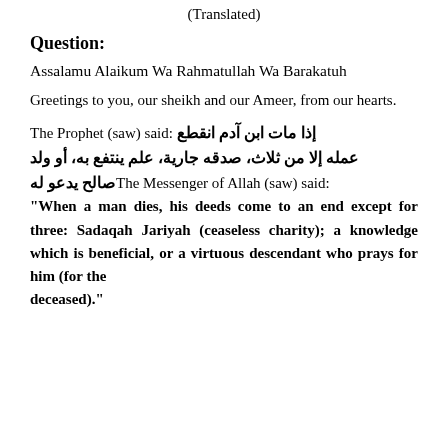(Translated)
Question:
Assalamu Alaikum Wa Rahmatullah Wa Barakatuh
Greetings to you, our sheikh and our Ameer, from our hearts.
The Prophet (saw) said: إذا مات ابن آدم انقطع عمله إلا من ثلاث، صدقه جارية، علم ينتفع به، أو ولد صالح يدعو له The Messenger of Allah (saw) said: "When a man dies, his deeds come to an end except for three: Sadaqah Jariyah (ceaseless charity); a knowledge which is beneficial, or a virtuous descendant who prays for him (for the deceased)."